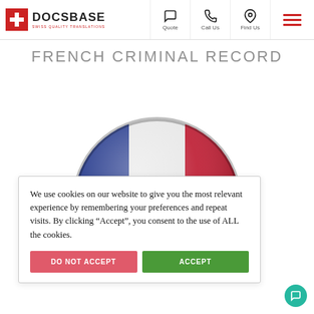DOCSBASE - SWISS QUALITY TRANSLATIONS - Quote | Call Us | Find Us
FRENCH CRIMINAL RECORD
[Figure (illustration): Circular badge/button showing the French flag (blue, white, red vertical stripes) with a glossy sheen, partially visible, cropped at the bottom of the viewport.]
We use cookies on our website to give you the most relevant experience by remembering your preferences and repeat visits. By clicking “Accept”, you consent to the use of ALL the cookies.
DO NOT ACCEPT | ACCEPT